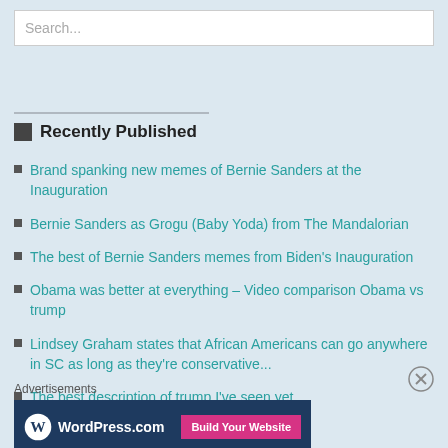Search...
Recently Published
Brand spanking new memes of Bernie Sanders at the Inauguration
Bernie Sanders as Grogu (Baby Yoda) from The Mandalorian
The best of Bernie Sanders memes from Biden's Inauguration
Obama was better at everything – Video comparison Obama vs trump
Lindsey Graham states that African Americans can go anywhere in SC as long as they're conservative...
The best description of trump I've seen yet
Advertisements
[Figure (screenshot): WordPress.com advertisement banner with Build Your Website button]